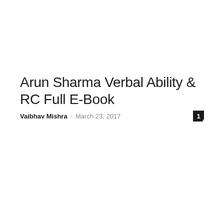Arun Sharma Verbal Ability & RC Full E-Book
Vaibhav Mishra – March 23, 2017